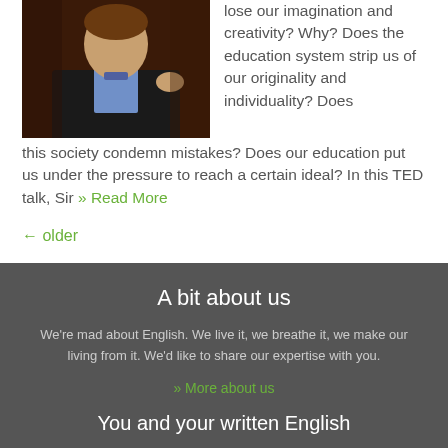[Figure (photo): A man in a dark suit with a blue shirt, gesturing with his hand, speaking at a TED talk event against a dark background.]
lose our imagination and creativity? Why? Does the education system strip us of our originality and individuality? Does this society condemn mistakes? Does our education put us under the pressure to reach a certain ideal? In this TED talk, Sir » Read More
← older
A bit about us
We're mad about English. We live it, we breathe it, we make our living from it. We'd like to share our expertise with you.
» More about us
You and your written English